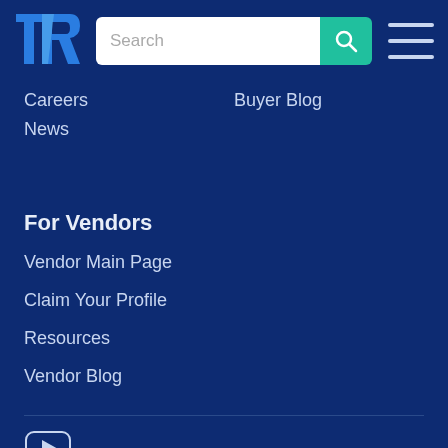[Figure (logo): TrustRadius logo — stylized TR letters in blue]
[Figure (screenshot): Search bar with teal search button and hamburger menu icon]
Careers
Buyer Blog
News
For Vendors
Vendor Main Page
Claim Your Profile
Resources
Vendor Blog
[Figure (illustration): Social media icons: YouTube, Facebook, Twitter, LinkedIn]
Terms of Use
Security
Privacy Policy